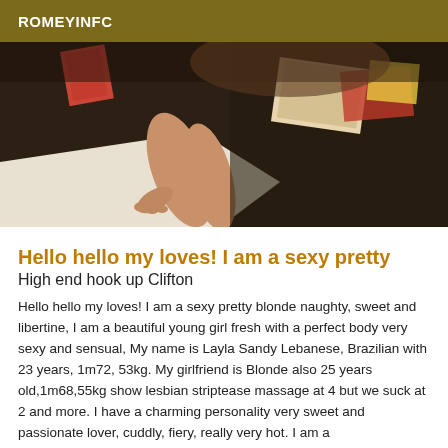ROMEYINFC
[Figure (photo): Photo showing feet/lower legs of a person lying on a white surface, with a dark fluffy rug and scattered items including magazines/snacks in the background.]
Hello hello my loves! I am a sexy pretty
High end hook up Clifton
Hello hello my loves! I am a sexy pretty blonde naughty, sweet and libertine, I am a beautiful young girl fresh with a perfect body very sexy and sensual, My name is Layla Sandy Lebanese, Brazilian with 23 years, 1m72, 53kg. My girlfriend is Blonde also 25 years old,1m68,55kg show lesbian striptease massage at 4 but we suck at 2 and more. I have a charming personality very sweet and passionate lover, cuddly, fiery, really very hot. I am a